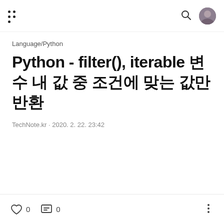Language/Python
Python - filter(), iterable 변수 내 값 중 조건에 맞는 값만 반환
TechNote.kr · 2020. 2. 22. 23:42
0 likes, 0 comments